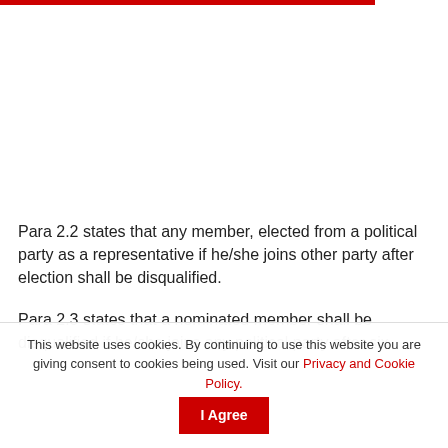Para 2.2 states that any member, elected from a political party as a representative if he/she joins other party after election shall be disqualified.
Para 2.3 states that a nominated member shall be disqualified if he/she joins any political party after six
This website uses cookies. By continuing to use this website you are giving consent to cookies being used. Visit our Privacy and Cookie Policy.